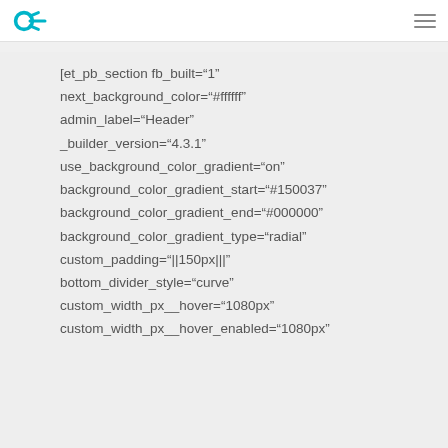ox [logo] [hamburger menu]
[et_pb_section fb_built="1"
next_background_color="#ffffff"
admin_label="Header"
_builder_version="4.3.1"
use_background_color_gradient="on"
background_color_gradient_start="#150037"
background_color_gradient_end="#000000"
background_color_gradient_type="radial"
custom_padding="||150px|||"
bottom_divider_style="curve"
custom_width_px__hover="1080px"
custom_width_px__hover_enabled="1080px"